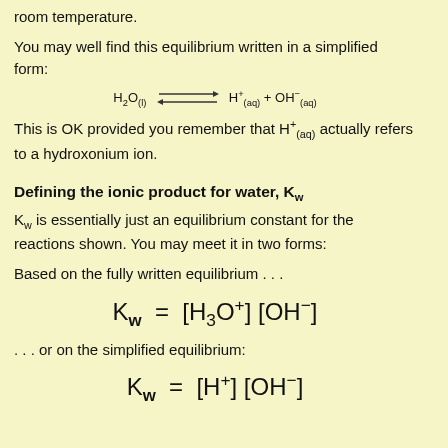room temperature.
You may well find this equilibrium written in a simplified form:
This is OK provided you remember that H⁺(aq) actually refers to a hydroxonium ion.
Defining the ionic product for water, Kw
Kw is essentially just an equilibrium constant for the reactions shown. You may meet it in two forms:
Based on the fully written equilibrium . . .
. . . or on the simplified equilibrium: